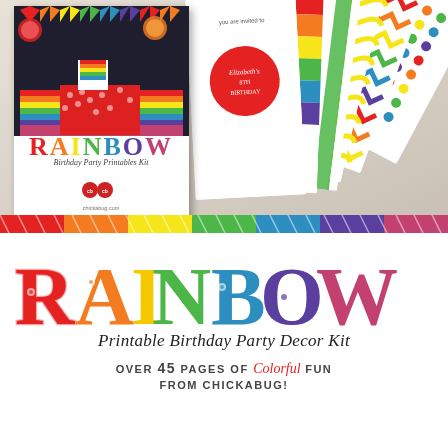[Figure (photo): Product photo showing Rainbow Birthday Party Printables Kit — a spread of colorful printed pages fanned out on a beige background, with the main cover showing a party setup with rainbow decorations, bunting, and a dessert table]
RAINBOW
Printable Birthday Party Decor Kit
OVER 45 PAGES OF Colorful FUN FROM CHICKABUG!